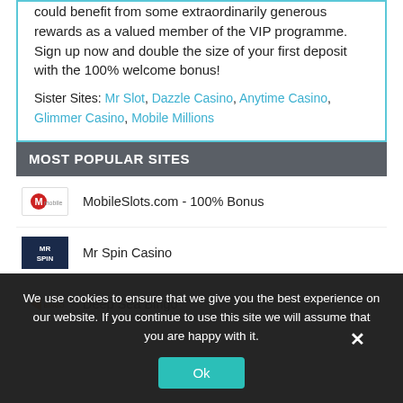could benefit from some extraordinarily generous rewards as a valued member of the VIP programme. Sign up now and double the size of your first deposit with the 100% welcome bonus!
Sister Sites: Mr Slot, Dazzle Casino, Anytime Casino, Glimmer Casino, Mobile Millions
MOST POPULAR SITES
MobileSlots.com - 100% Bonus
Mr Spin Casino
Deep Sea Bingo
We use cookies to ensure that we give you the best experience on our website. If you continue to use this site we will assume that you are happy with it.